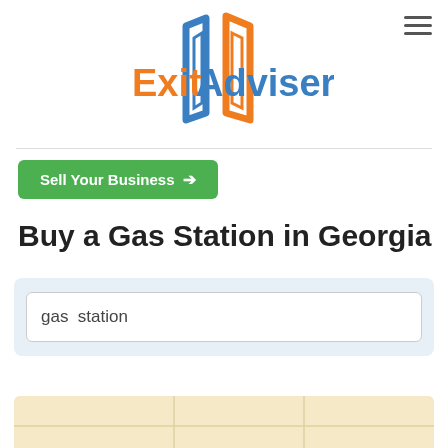[Figure (logo): ExitAdviser logo with stylized door icon in blue/orange and text 'Exit' in orange and 'Adviser' in blue]
Sell Your Business →
Buy a Gas Station in Georgia
gas  station
[Figure (map): Partial map view at bottom of page with beige/tan background]